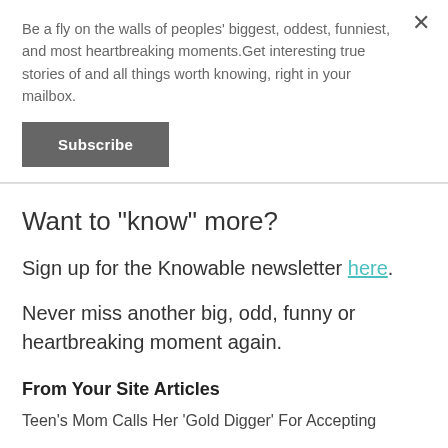Be a fly on the walls of peoples' biggest, oddest, funniest, and most heartbreaking moments.Get interesting true stories of and all things worth knowing, right in your mailbox.
Subscribe
Want to "know" more?
Sign up for the Knowable newsletter here.
Never miss another big, odd, funny or heartbreaking moment again.
From Your Site Articles
Teen's Mom Calls Her 'Gold Digger' For Accepting